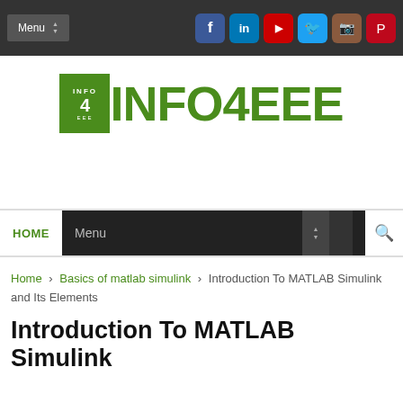Menu | social icons: Facebook, LinkedIn, YouTube, Twitter, Instagram, Pinterest
[Figure (logo): INFO4EEE logo with green tree icon and green bold text INFO4EEE]
HOME | Menu
Home > Basics of matlab simulink > Introduction To MATLAB Simulink and Its Elements
Introduction To MATLAB Simulink